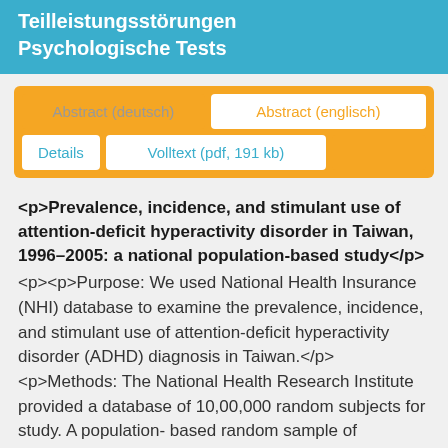Teilleistungsstörungen
Psychologische Tests
Abstract (deutsch) | Abstract (englisch) | Details | Volltext (pdf, 191 kb)
<p>Prevalence, incidence, and stimulant use of attention-deficit hyperactivity disorder in Taiwan, 1996–2005: a national population-based study</p> <p><p>Purpose: We used National Health Insurance (NHI) database to examine the prevalence, incidence, and stimulant use of attention-deficit hyperactivity disorder (ADHD) diagnosis in Taiwan.</p><p>Methods: The National Health Research Institute provided a database of 10,00,000 random subjects for study. A population- based random sample of